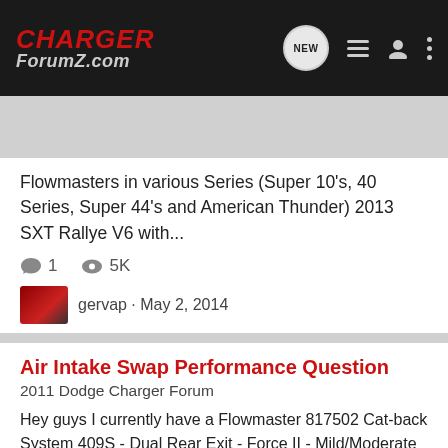CHARGER ForumZ.com
Search Community
Flowmasters in various Series (Super 10's, 40 Series, Super 44's and American Thunder) 2013 SXT Rallye V6 with...
1   5K
gervap · May 2, 2014
flowmaster   flowmaster super 10   flowmaster super 44
Air Intake Swap Performance Question
2011 Dodge Charger Forum
Hey guys I currently have a Flowmaster 817502 Cat-back System 409S - Dual Rear Exit - Force II - Mild/Moderate Sound performance exhaust on my 2011 RT Charger. I am looking to add a K&N Cold Air Intake and maybe a throttle body spacer. The intake I want is a K&N 63-1114 with the